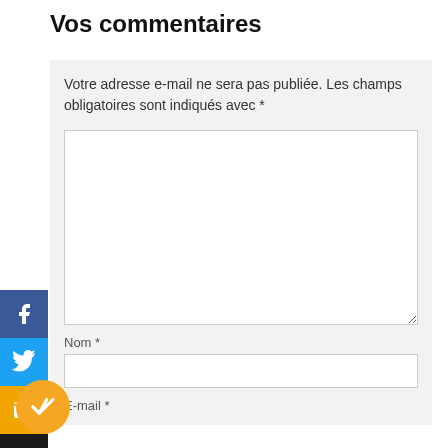Vos commentaires
Votre adresse e-mail ne sera pas publiée. Les champs obligatoires sont indiqués avec *
Nom *
E-mail *